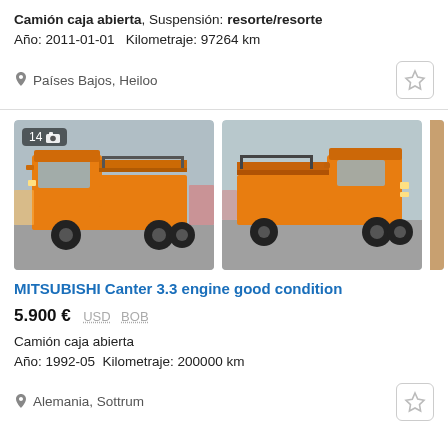Camión caja abierta, Suspensión: resorte/resorte
Año: 2011-01-01   Kilometraje: 97264 km
Países Bajos, Heiloo
[Figure (photo): Two orange Mitsubishi Canter flatbed trucks photographed from slightly different angles in a parking/yard area. Left image shows 14 photos badge. Trucks are orange with black wheels and open flat beds.]
MITSUBISHI Canter 3.3 engine good condition
5.900 €  USD  BOB
Camión caja abierta
Año: 1992-05   Kilometraje: 200000 km
Alemania, Sottrum